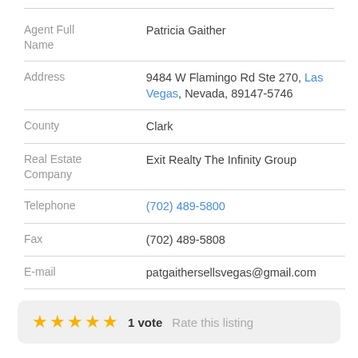| Field | Value |
| --- | --- |
| Agent Full Name | Patricia Gaither |
| Address | 9484 W Flamingo Rd Ste 270, Las Vegas, Nevada, 89147-5746 |
| County | Clark |
| Real Estate Company | Exit Realty The Infinity Group |
| Telephone | (702) 489-5800 |
| Fax | (702) 489-5808 |
| E-mail | patgaithersellsvegas@gmail.com |
★★★★★ 1 vote  Rate this listing